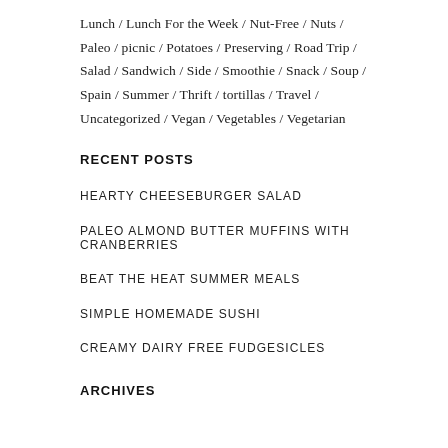Lunch / Lunch For the Week / Nut-Free / Nuts / Paleo / picnic / Potatoes / Preserving / Road Trip / Salad / Sandwich / Side / Smoothie / Snack / Soup / Spain / Summer / Thrift / tortillas / Travel / Uncategorized / Vegan / Vegetables / Vegetarian
RECENT POSTS
HEARTY CHEESEBURGER SALAD
PALEO ALMOND BUTTER MUFFINS WITH CRANBERRIES
BEAT THE HEAT SUMMER MEALS
SIMPLE HOMEMADE SUSHI
CREAMY DAIRY FREE FUDGESICLES
ARCHIVES